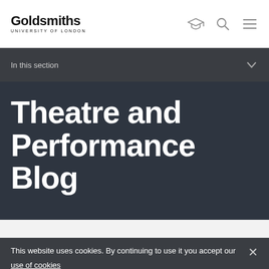[Figure (logo): Goldsmiths University of London logo text]
In this section
Theatre and Performance Blog
This website uses cookies. By continuing to use it you accept our use of cookies